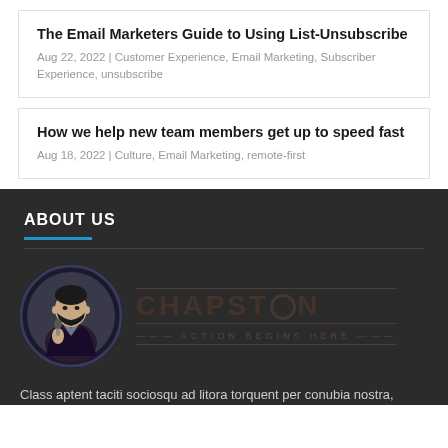The Email Marketers Guide to Using List-Unsubscribe
Aug 22, 2022 | Customer Experience, Email Marketing, Subscriber Experience, unsubscribe
How we help new team members get up to speed fast
Aug 18, 2022 | Culture, Email Marketing, remote-first
ABOUT US
[Figure (logo): Chapston logo with illustrated man in suit and text CHAPSTON ACTION BEGINS HERE]
Class aptent taciti sociosqu ad litora torquent per conubia nostra,